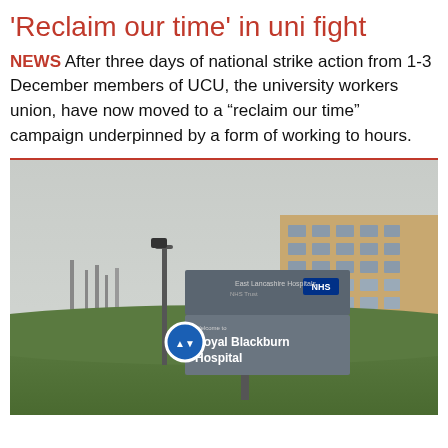'Reclaim our time' in uni fight
NEWS After three days of national strike action from 1-3 December members of UCU, the university workers union, have now moved to a “reclaim our time” campaign underpinned by a form of working to hours.
[Figure (photo): Photograph of the Royal Blackburn Hospital NHS sign outdoors, with a street lamp, blue circular road sign, grass bank, and a brick building in the background under an overcast sky.]